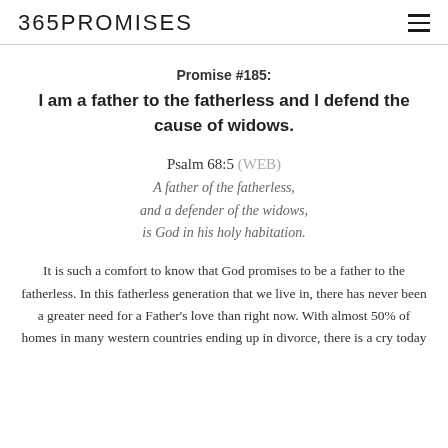365PROMISES
Promise #185:
I am a father to the fatherless and I defend the cause of widows.
Psalm 68:5 (WEB)
A father of the fatherless,
and a defender of the widows,
is God in his holy habitation.
It is such a comfort to know that God promises to be a father to the fatherless. In this fatherless generation that we live in, there has never been a greater need for a Father's love than right now. With almost 50% of homes in many western countries ending up in divorce, there is a cry today